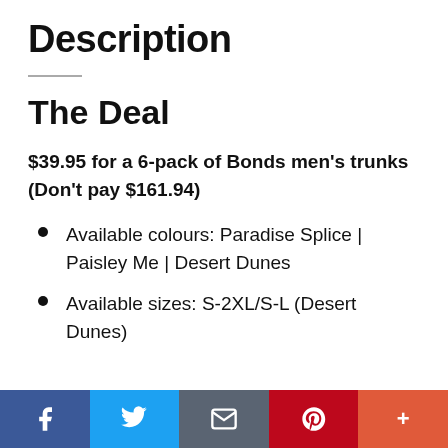Description
The Deal
$39.95 for a 6-pack of Bonds men's trunks (Don't pay $161.94)
Available colours: Paradise Splice | Paisley Me | Desert Dunes
Available sizes: S-2XL/S-L (Desert Dunes)